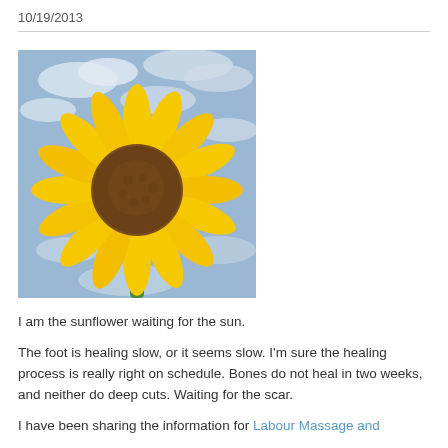10/19/2013
[Figure (photo): A bright yellow sunflower in close-up against a blue cloudy sky background.]
I am the sunflower waiting for the sun.
The foot is healing slow, or it seems slow. I'm sure the healing process is really right on schedule. Bones do not heal in two weeks, and neither do deep cuts. Waiting for the scar.
I have been sharing the information for Labour Massage and